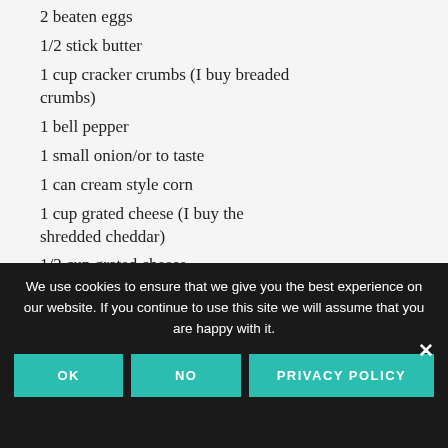2 beaten eggs
1/2 stick butter
1 cup cracker crumbs (I buy breaded crumbs)
1 bell pepper
1 small onion/or to taste
1 can cream style corn
1 cup grated cheese (I buy the shredded cheddar)
1/2 cup grated cheese
salt and pepper to taste
Pare and cut eggplant into cubes, cook
We use cookies to ensure that we give you the best experience on our website. If you continue to use this site we will assume that you are happy with it.
OK | NO | PRIVACY POLICY